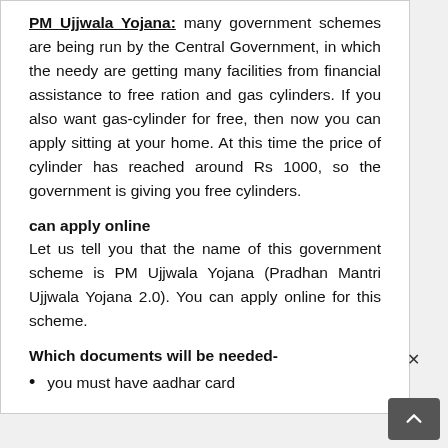PM Ujjwala Yojana: many government schemes are being run by the Central Government, in which the needy are getting many facilities from financial assistance to free ration and gas cylinders. If you also want gas-cylinder for free, then now you can apply sitting at your home. At this time the price of cylinder has reached around Rs 1000, so the government is giving you free cylinders.
can apply online
Let us tell you that the name of this government scheme is PM Ujjwala Yojana (Pradhan Mantri Ujjwala Yojana 2.0). You can apply online for this scheme.
Which documents will be needed-
you must have aadhar card